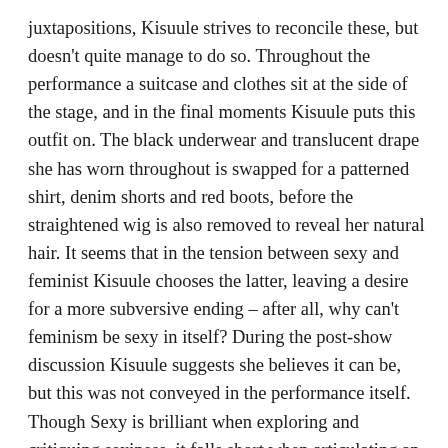juxtapositions, Kisuule strives to reconcile these, but doesn't quite manage to do so. Throughout the performance a suitcase and clothes sit at the side of the stage, and in the final moments Kisuule puts this outfit on. The black underwear and translucent drape she has worn throughout is swapped for a patterned shirt, denim shorts and red boots, before the straightened wig is also removed to reveal her natural hair. It seems that in the tension between sexy and feminist Kisuule chooses the latter, leaving a desire for a more subversive ending – after all, why can't feminism be sexy in itself? During the post-show discussion Kisuule suggests she believes it can be, but this was not conveyed in the performance itself. Though Sexy is brilliant when exploring and critiquing sexiness, it falls short when articulating an alternative.